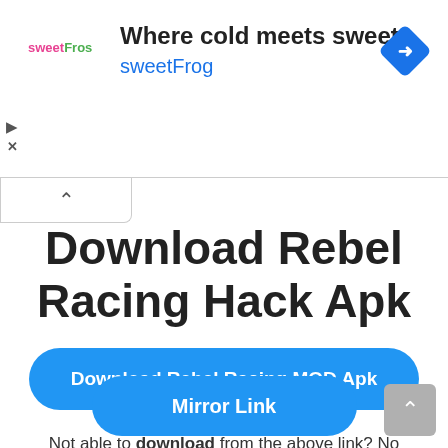[Figure (screenshot): SweetFrog advertisement banner with logo text 'sweetFros', headline 'Where cold meets sweet', brand name 'sweetFrog' in blue, and a blue diamond navigation icon on the right]
Download Rebel Racing Hack Apk
Download Rebel Racing MOD Apk
Not able to download from the above link? No Worries! Download from mirror link.
Mirror Link